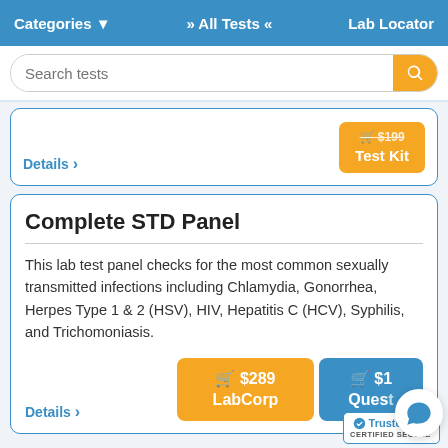Categories ▾   » All Tests «   Lab Locator
Details ›
🛒 $199 Test Kit
Complete STD Panel
This lab test panel checks for the most common sexually transmitted infections including Chlamydia, Gonorrhea, Herpes Type 1 & 2 (HSV), HIV, Hepatitis C (HCV), Syphilis, and Trichomoniasis.
Details ›
🛒 $289 LabCorp
🛒 $1 Quest (partially hidden)
TrustedSite CERTIFIED SECURE